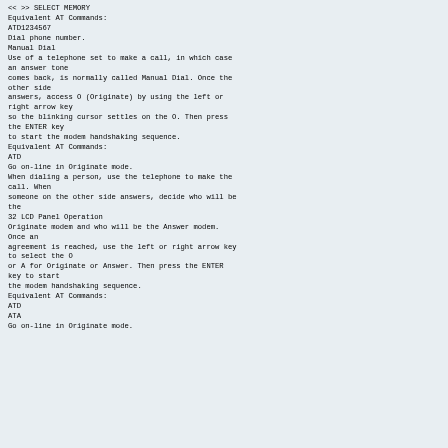<< >> SELECT MEMORY
Equivalent AT Commands:
ATD1234567
Dial phone number.
Manual Dial
Use of a telephone set to make a call, in which case an answer tone
comes back, is normally called Manual Dial. Once the other side
answers, access O (Originate) by using the left or right arrow key
so the blinking cursor settles on the O. Then press the ENTER key
to start the modem handshaking sequence.
Equivalent AT Commands:
ATD
Go on-line in Originate mode.
When dialing a person, use the telephone to make the call. When
someone on the other side answers, decide who will be the
32 LCD Panel Operation
Originate modem and who will be the Answer modem. Once an
agreement is reached, use the left or right arrow key to select the O
or A for Originate or Answer. Then press the ENTER key to start
the modem handshaking sequence.
Equivalent AT Commands:
ATD
ATA
Go on-line in Originate mode.